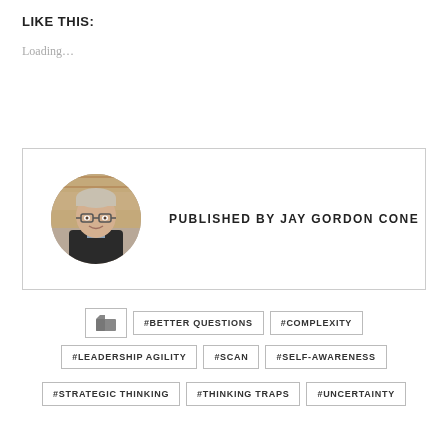LIKE THIS:
Loading…
[Figure (photo): Author box with circular photo of Jay Gordon Cone and text 'PUBLISHED BY JAY GORDON CONE']
#BETTER QUESTIONS
#COMPLEXITY
#LEADERSHIP AGILITY
#SCAN
#SELF-AWARENESS
#STRATEGIC THINKING
#THINKING TRAPS
#UNCERTAINTY